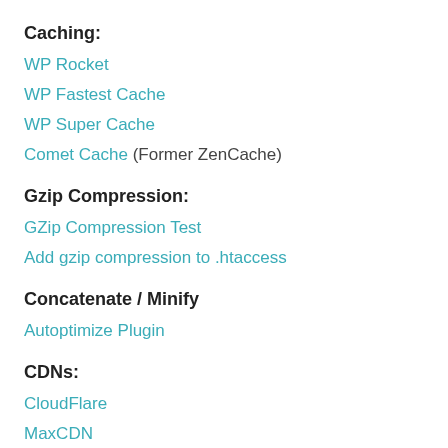Caching:
WP Rocket
WP Fastest Cache
WP Super Cache
Comet Cache (Former ZenCache)
Gzip Compression:
GZip Compression Test
Add gzip compression to .htaccess
Concatenate / Minify
Autoptimize Plugin
CDNs:
CloudFlare
MaxCDN